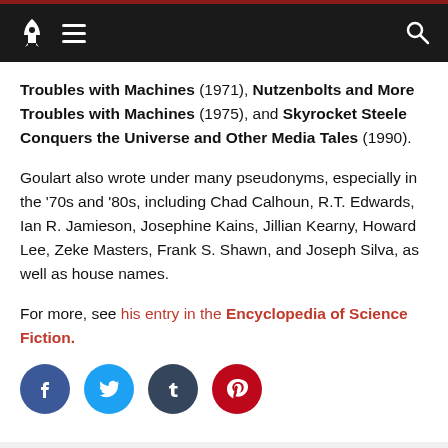Navigation bar with rocket logo, hamburger menu, and search icon
Troubles with Machines (1971), Nutzenbolts and More Troubles with Machines (1975), and Skyrocket Steele Conquers the Universe and Other Media Tales (1990).
Goulart also wrote under many pseudonyms, especially in the '70s and '80s, including Chad Calhoun, R.T. Edwards, Ian R. Jamieson, Josephine Kains, Jillian Kearny, Howard Lee, Zeke Masters, Frank S. Shawn, and Joseph Silva, as well as house names.
For more, see his entry in the Encyclopedia of Science Fiction.
[Figure (other): Social share buttons: Facebook (blue circle), Twitter (light blue circle), Tumblr (dark blue circle), Pinterest (red circle)]